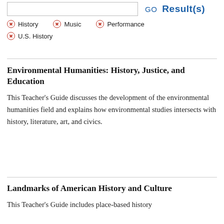GO Result(s)
History
Music
Performance
U.S. History
Environmental Humanities: History, Justice, and Education
This Teacher's Guide discusses the development of the environmental humanities field and explains how environmental studies intersects with history, literature, art, and civics.
Landmarks of American History and Culture
This Teacher's Guide includes place-based history